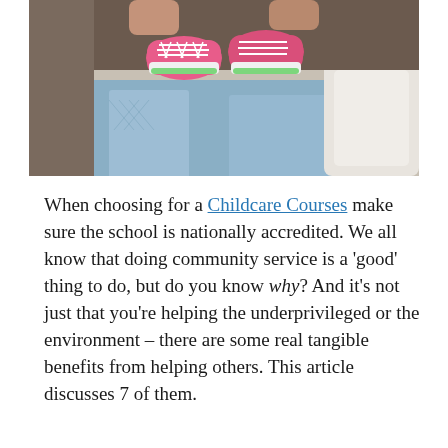[Figure (photo): A pregnant woman sitting on a bed, wearing a light blue outfit, holding a pair of small pink baby sneakers with white laces and green accents at the toe]
When choosing for a Childcare Courses make sure the school is nationally accredited. We all know that doing community service is a 'good' thing to do, but do you know why? And it's not just that you're helping the underprivileged or the environment – there are some real tangible benefits from helping others. This article discusses 7 of them.